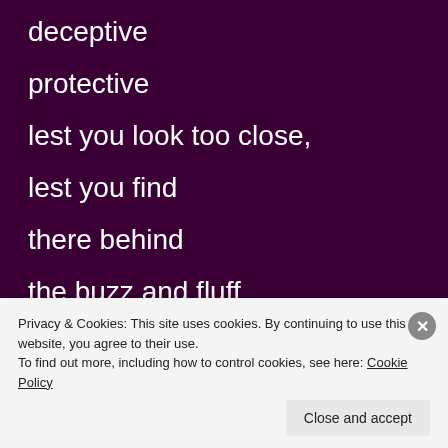deceptive
protective
lest you look too close,
lest you find
there behind
the buzz and fluff
Privacy & Cookies: This site uses cookies. By continuing to use this website, you agree to their use.
To find out more, including how to control cookies, see here: Cookie Policy
Close and accept